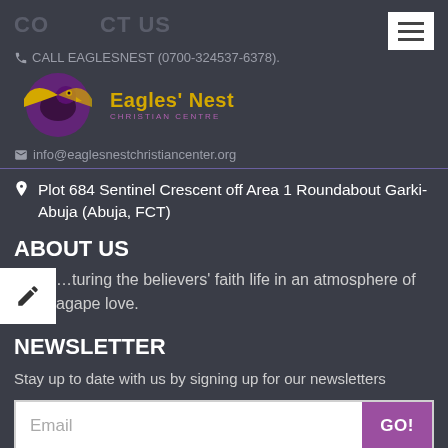CONTACT US
CALL EAGLESNEST (0700-324537-6378).
[Figure (logo): Eagles' Nest Christian Centre logo — eagle with purple circle, golden wings, and text 'Eagles' Nest CHRISTIAN CENTRE']
info@eaglesnestchristiancenter.org
Plot 684 Sentinel Crescent off Area 1 Roundabout Garki- Abuja (Abuja, FCT)
ABOUT US
…turing the believers' faith life in an atmosphere of agape love.
NEWSLETTER
Stay up to date with us by signing up for our newsletters
Email  GO!